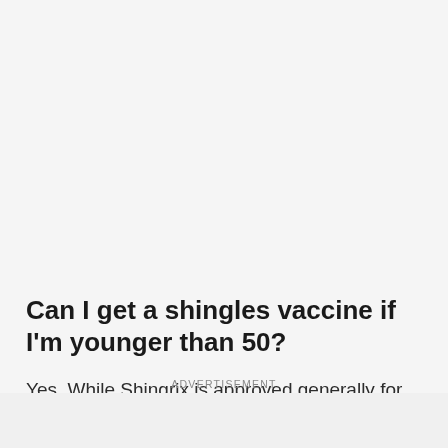Can I get a shingles vaccine if I'm younger than 50?
Yes. While Shingrix is approved generally for people 50 and older, the FDA has also approved its use for
ADVERTISEMENT